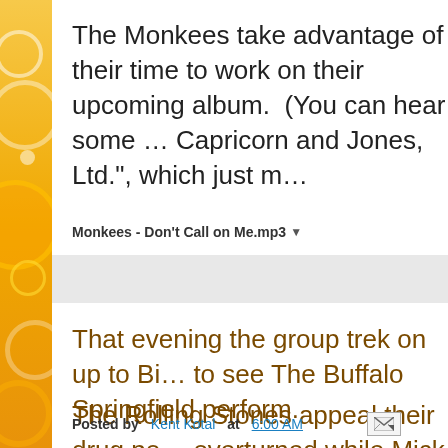The Monkees take advantage of their ti... upcoming album.  (You can hear some ... Capricorn and Jones, Ltd.", which just r...
Monkees - Don't Call on Me.mp3
That evening the group trek on up to Bi... to see The Buffalo Springfield perform.
The Rolling Stones appeal their drug po... overturned while Mick Jagger's three m...
Posted by Kent Kotal at 6:00 AM